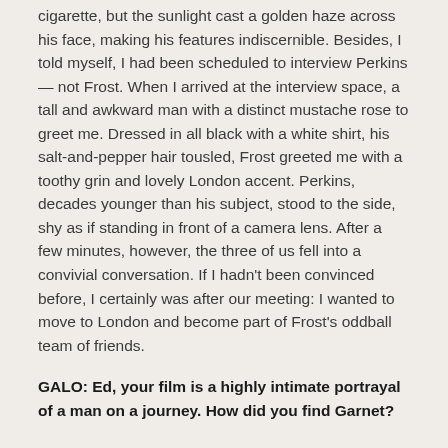cigarette, but the sunlight cast a golden haze across his face, making his features indiscernible. Besides, I told myself, I had been scheduled to interview Perkins — not Frost. When I arrived at the interview space, a tall and awkward man with a distinct mustache rose to greet me. Dressed in all black with a white shirt, his salt-and-pepper hair tousled, Frost greeted me with a toothy grin and lovely London accent. Perkins, decades younger than his subject, stood to the side, shy as if standing in front of a camera lens. After a few minutes, however, the three of us fell into a convivial conversation. If I hadn't been convinced before, I certainly was after our meeting: I wanted to move to London and become part of Frost's oddball team of friends.
GALO: Ed, your film is a highly intimate portrayal of a man on a journey. How did you find Garnet?